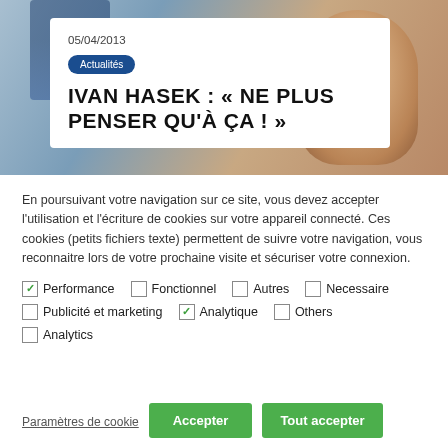[Figure (photo): Background photo of a person's face, blurred/cropped, with a white card overlay]
05/04/2013
Actualités
IVAN HASEK : « NE PLUS PENSER QU'À ÇA ! »
En poursuivant votre navigation sur ce site, vous devez accepter l'utilisation et l'écriture de cookies sur votre appareil connecté. Ces cookies (petits fichiers texte) permettent de suivre votre navigation, vous reconnaitre lors de votre prochaine visite et sécuriser votre connexion.
✓ Performance   □ Fonctionnel   □ Autres   □ Necessaire
□ Publicité et marketing   ✓ Analytique   □ Others
□ Analytics
Paramètres de cookie   Accepter   Tout accepter